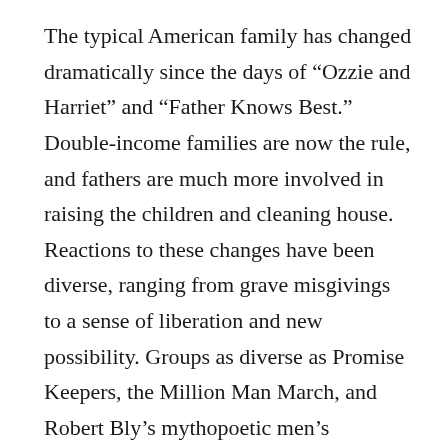The typical American family has changed dramatically since the days of “Ozzie and Harriet” and “Father Knows Best.” Double-income families are now the rule, and fathers are much more involved in raising the children and cleaning house. Reactions to these changes have been diverse, ranging from grave misgivings to a sense of liberation and new possibility. Groups as diverse as Promise Keepers, the Million Man March, and Robert Bly’s mythopoetic men’s movement tell us that fathers are important. From the fundamentalist right to the feminist left, opinions about the changing nature of the family–and the consequent rethinking of gender roles–have been vehement, if not always very well-founded. In